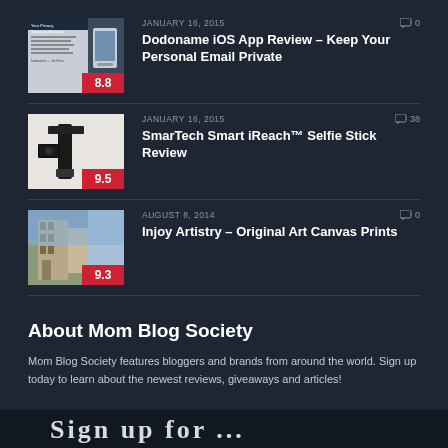[Figure (screenshot): Thumbnail image for Dodoname iOS App Review article, showing app promotional material with text about privacy and email]
JANUARY 16, 2015
0
Dodoname iOS App Review – Keep Your Personal Email Private
[Figure (photo): Thumbnail image for SmarTech Smart iReach Selfie Stick Review, showing selfie stick and related accessories on white background]
JANUARY 16, 2015
38
SmarTech Smart iReach™ Selfie Stick Review
[Figure (photo): Thumbnail image for Injoy Artistry article, showing a castle or historic building exterior]
AUGUST 8, 2014
0
Injoy Artistry – Original Art Canvas Prints
About Mom Blog Society
Mom Blog Society features bloggers and brands from around the world. Sign up today to learn about the newest reviews, giveaways and articles!
[Figure (screenshot): Sign up form banner at the bottom of the page, partially visible]